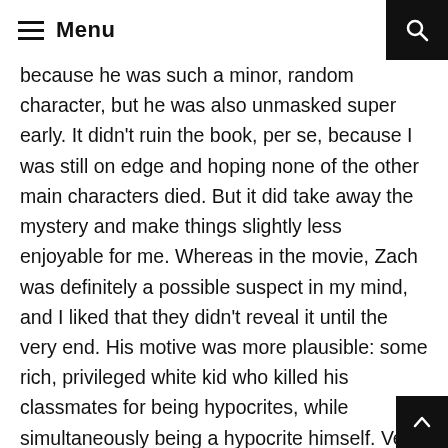≡ Menu
because he was such a minor, random character, but he was also unmasked super early. It didn't ruin the book, per se, because I was still on edge and hoping none of the other main characters died. But it did take away the mystery and make things slightly less enjoyable for me. Whereas in the movie, Zach was definitely a possible suspect in my mind, and I liked that they didn't reveal it until the very end. His motive was more plausible: some rich, privileged white kid who killed his classmates for being hypocrites, while simultaneously being a hypocrite himself. Very on-brand and believable. That scene where he kills his dad made my stomach hurt. Actually, all of the murder scenes made me want to gag, especially Rodrigo's because A) I liked him, B) It didn't really make sense because he was just taking pills (no big deal) and he was completely harmless, not really being a hypocrite at all, but whatever,